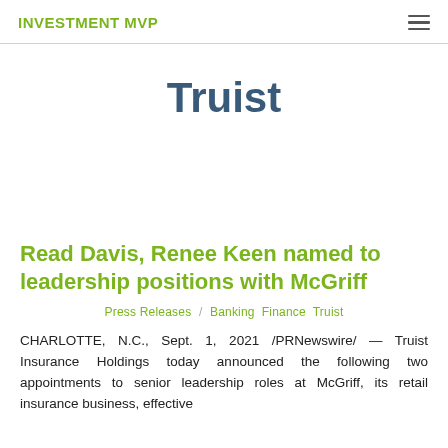INVESTMENT MVP
Truist
Read Davis, Renee Keen named to leadership positions with McGriff
Press Releases / Banking Finance Truist
CHARLOTTE, N.C., Sept. 1, 2021 /PRNewswire/ — Truist Insurance Holdings today announced the following two appointments to senior leadership roles at McGriff, its retail insurance business, effective